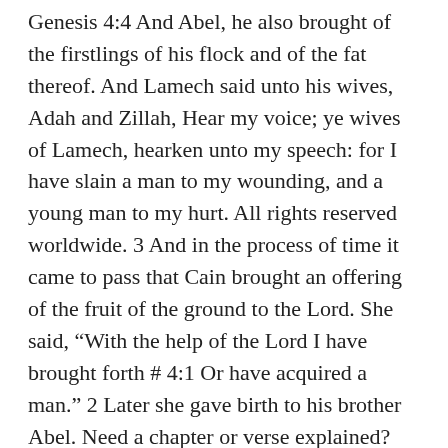Genesis 4:4 And Abel, he also brought of the firstlings of his flock and of the fat thereof. And Lamech said unto his wives, Adah and Zillah, Hear my voice; ye wives of Lamech, hearken unto my speech: for I have slain a man to my wounding, and a young man to my hurt. All rights reserved worldwide. 3 And in the process of time it came to pass that Cain brought an offering of the fruit of the ground to the Lord. She said, “With the help of the Lord I have brought forth # 4:1 Or have acquired a man.” 2 Later she gave birth to his brother Abel. Need a chapter or verse explained? She conceived and had Cain. Human Nature in Genesis 1-3 Chapter 4 part one question. Genesis 4:8 Lit rose up against. Genesis 4:16 “And Cain went out from the presence of the LORD, and dwelt in the land of Nod, on the east of Eden.” These boys grew into young men and were living their separate lives. And unto thee shall be his desire